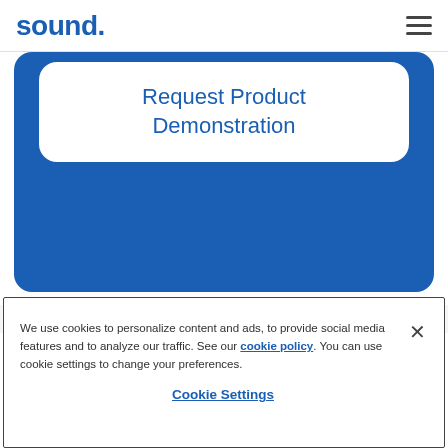sound
[Figure (screenshot): Blue rounded card with white inset card containing 'Request Product Demonstration' title in blue text]
Request Product Demonstration
We use cookies to personalize content and ads, to provide social media features and to analyze our traffic. See our cookie policy. You can use cookie settings to change your preferences.
Cookie Settings